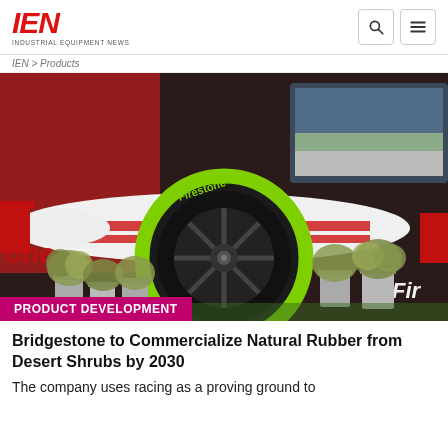IEN INDUSTRIAL EQUIPMENT NEWS
[Figure (photo): An IndyCar racing car with a Firestone tire prominently displayed in the foreground. Green-lettered Firestone tires are visible. Small silver buckets with shrub plants (guayule) are arranged around the tire. The car has a white and red livery.]
PRODUCT DEVELOPMENT
Bridgestone to Commercialize Natural Rubber from Desert Shrubs by 2030
The company uses racing as a proving ground to